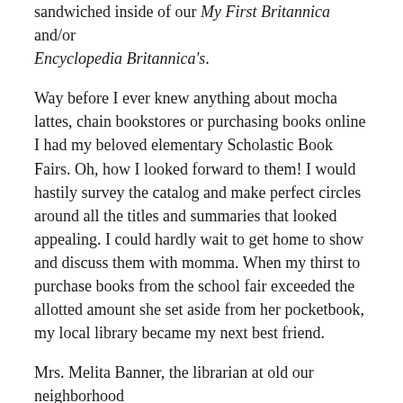sandwiched inside of our My First Britannica and/or Encyclopedia Britannica's.
Way before I ever knew anything about mocha lattes, chain bookstores or purchasing books online I had my beloved elementary Scholastic Book Fairs. Oh, how I looked forward to them! I would hastily survey the catalog and make perfect circles around all the titles and summaries that looked appealing. I could hardly wait to get home to show and discuss them with momma. When my thirst to purchase books from the school fair exceeded the allotted amount she set aside from her pocketbook, my local library became my next best friend.
Mrs. Melita Banner, the librarian at old our neighborhood